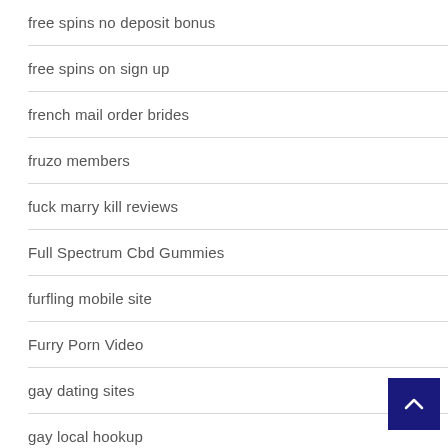free spins no deposit bonus
free spins on sign up
french mail order brides
fruzo members
fuck marry kill reviews
Full Spectrum Cbd Gummies
furfling mobile site
Furry Porn Video
gay dating sites
gay local hookup